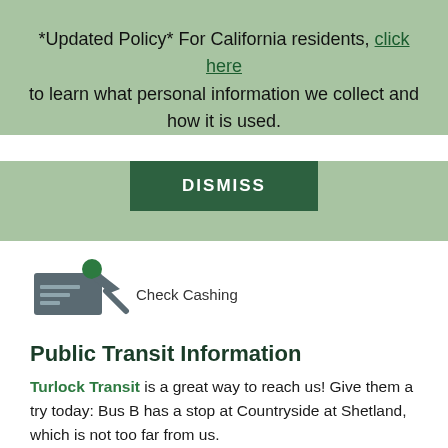*Updated Policy* For California residents, click here to learn what personal information we collect and how it is used.
[Figure (other): Green DISMISS button]
[Figure (illustration): Check cashing icon: a check with a hand and green dot]
Check Cashing
Public Transit Information
Turlock Transit is a great way to reach us! Give them a try today: Bus B has a stop at Countryside at Shetland, which is not too far from us.
What's Nearby